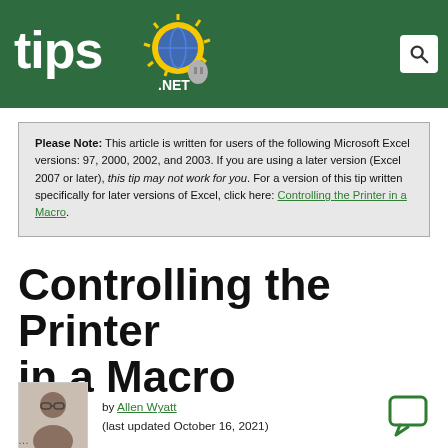tips.NET
Please Note: This article is written for users of the following Microsoft Excel versions: 97, 2000, 2002, and 2003. If you are using a later version (Excel 2007 or later), this tip may not work for you. For a version of this tip written specifically for later versions of Excel, click here: Controlling the Printer in a Macro.
Controlling the Printer in a Macro
by Allen Wyatt (last updated October 16, 2021)